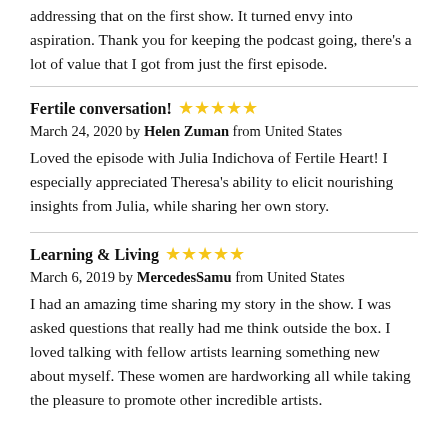addressing that on the first show. It turned envy into aspiration. Thank you for keeping the podcast going, there's a lot of value that I got from just the first episode.
Fertile conversation! ★★★★★
March 24, 2020 by Helen Zuman from United States
Loved the episode with Julia Indichova of Fertile Heart! I especially appreciated Theresa's ability to elicit nourishing insights from Julia, while sharing her own story.
Learning & Living ★★★★★
March 6, 2019 by MercedesSamu from United States
I had an amazing time sharing my story in the show. I was asked questions that really had me think outside the box. I loved talking with fellow artists learning something new about myself. These women are hardworking all while taking the pleasure to promote other incredible artists.